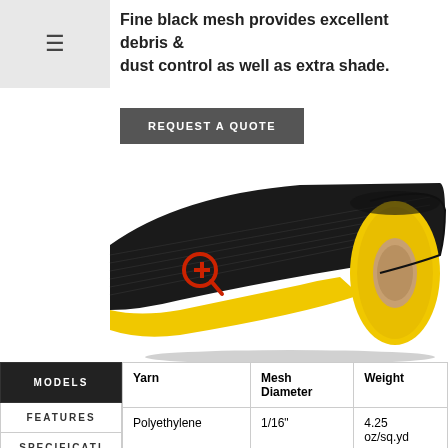Fine black mesh provides excellent debris & dust control as well as extra shade.
REQUEST A QUOTE
[Figure (photo): Roll of black mesh fabric with yellow core and cardboard tube, partially unrolled showing fine mesh texture. Red zoom magnifier icon overlay.]
| MODELS | Yarn | Mesh Diameter | Weight |
| --- | --- | --- | --- |
| FEATURES | Polyethylene | 1/16" | 4.25 oz/sq.yd |
| SPECIFICATI |  |  |  |